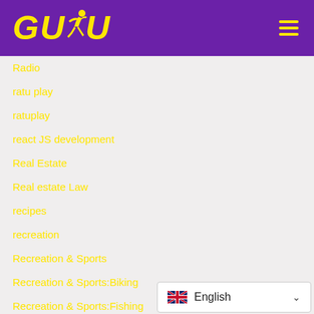[Figure (logo): GUDU logo with yellow bold italic text and a running figure silhouette on purple background, with hamburger menu icon on the right]
Radio
ratu play
ratuplay
react JS development
Real Estate
Real estate Law
recipes
recreation
Recreation & Sports
Recreation & Sports:Biking
Recreation & Sports:Fishing
Recreation & Sports:Martial Arts
[Figure (screenshot): Language selector widget showing UK flag and English text with a dropdown chevron]